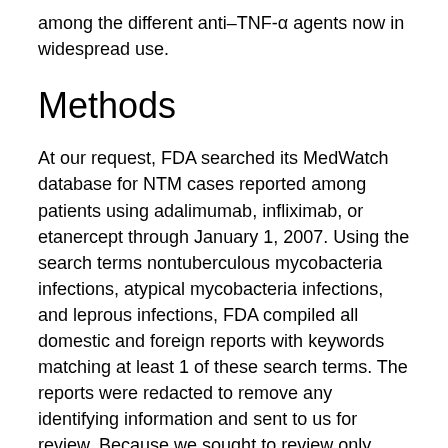among the different anti–TNF-α agents now in widespread use.
Methods
At our request, FDA searched its MedWatch database for NTM cases reported among patients using adalimumab, infliximab, or etanercept through January 1, 2007. Using the search terms nontuberculous mycobacteria infections, atypical mycobacteria infections, and leprous infections, FDA compiled all domestic and foreign reports with keywords matching at least 1 of these search terms. The reports were redacted to remove any identifying information and sent to us for review. Because we sought to review only cases involving environmental NTM, cases caused by Mycobacterium leprae (leprosy) were excluded (n = 5). We reviewed all